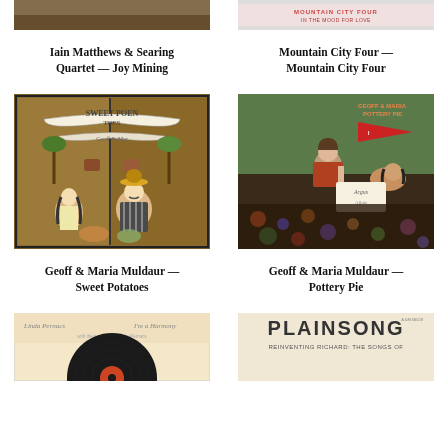[Figure (photo): Album cover top crop: Iain Matthews & Searing Quartet — Joy Mining]
[Figure (photo): Album cover top crop: Mountain City Four — Mountain City Four]
Iain Matthews & Searing Quartet — Joy Mining
Mountain City Four — Mountain City Four
[Figure (photo): Album cover: Geoff & Maria Muldaur — Sweet Potatoes, folk art painting of two people with plants]
[Figure (photo): Album cover: Geoff & Maria Muldaur — Pottery Pie, photo of couple on bed with newspaper]
Geoff & Maria Muldaur — Sweet Potatoes
Geoff & Maria Muldaur — Pottery Pie
[Figure (photo): Album cover partial: Linda Pernacs — I'm a Harmony, vinyl record visible]
[Figure (photo): Album cover partial: Plainsong — Reinventing Richard: The Songs Of...]